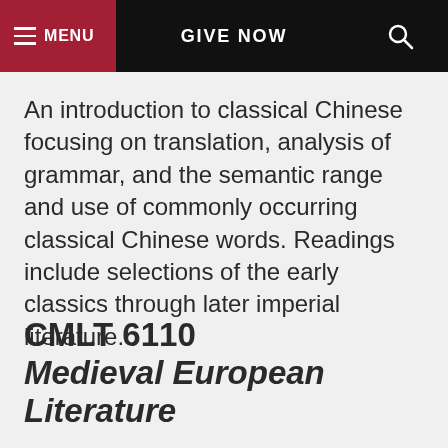MENU  GIVE NOW
An introduction to classical Chinese focusing on translation, analysis of grammar, and the semantic range and use of commonly occurring classical Chinese words. Readings include selections of the early classics through later imperial literature.
CMLT 6110 Medieval European Literature